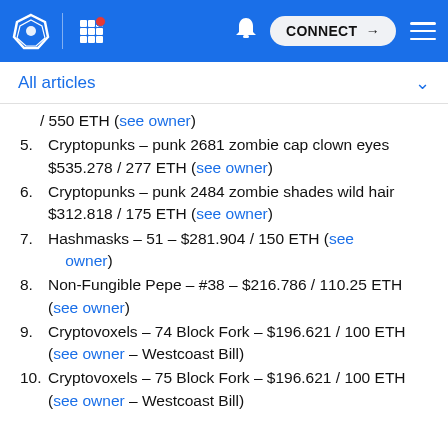Navigation bar with logo, grid, bell, CONNECT button, and menu
All articles
/ 550 ETH (see owner)
5. Cryptopunks – punk 2681 zombie cap clown eyes $535.278 / 277 ETH (see owner)
6. Cryptopunks – punk 2484 zombie shades wild hair $312.818 / 175 ETH (see owner)
7. Hashmasks – 51 – $281.904 / 150 ETH (see owner)
8. Non-Fungible Pepe – #38 – $216.786 / 110.25 ETH (see owner)
9. Cryptovoxels – 74 Block Fork – $196.621 / 100 ETH (see owner – Westcoast Bill)
10. Cryptovoxels – 75 Block Fork – $196.621 / 100 ETH (see owner – Westcoast Bill)